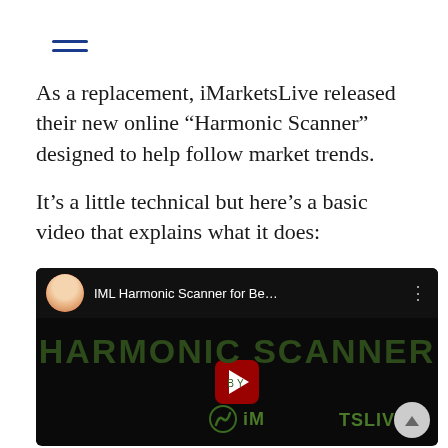[Figure (other): Hamburger menu icon — three horizontal blue lines in top-left corner]
As a replacement, iMarketsLive released their new online “Harmonic Scanner” designed to help follow market trends.
It’s a little technical but here’s a basic video that explains what it does:
[Figure (screenshot): YouTube video thumbnail for 'IML Harmonic Scanner for Be...' showing a woman's avatar photo in the top bar, the title text, and the video content showing 'HARMONIC SCANNER BY iMARKETSLIVE' text on a dark background with a YouTube play button in the center. A scroll-up button appears in the bottom right corner.]